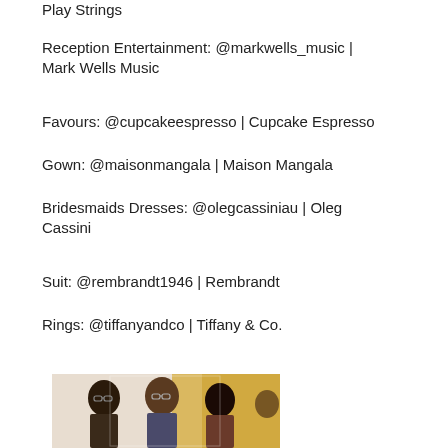Play Strings
Reception Entertainment: @markwells_music | Mark Wells Music
Favours: @cupcakeespresso | Cupcake Espresso
Gown: @maisonmangala | Maison Mangala
Bridesmaids Dresses: @olegcassiniau | Oleg Cassini
Suit: @rembrandt1946 | Rembrandt
Rings: @tiffanyandco | Tiffany & Co.
[Figure (photo): Group photo of three people at an event with a yellow/orange background]